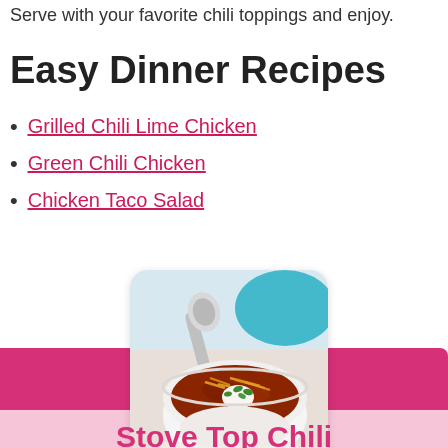Serve with your favorite chili toppings and enjoy.
Easy Dinner Recipes
Grilled Chili Lime Chicken
Green Chili Chicken
Chicken Taco Salad
[Figure (photo): A bowl of chili topped with shredded cheese, sour cream, and green herbs, with a ladle resting beside it on a white surface, a teal bowl in background]
Stove Top Chili